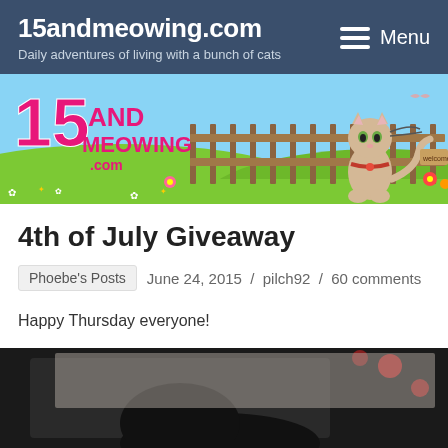15andmeowing.com
Daily adventures of living with a bunch of cats
[Figure (illustration): 15andmeowing.com banner with cartoon cat graphic, pink logo text, wooden fence, green hills, and flower decorations on a blue sky background]
4th of July Giveaway
Phoebe's Posts  June 24, 2015 / pilch92 / 60 comments
Happy Thursday everyone!
[Figure (photo): Dark photo of a cat, partially visible at the bottom of the page, with red/orange decorative elements visible]